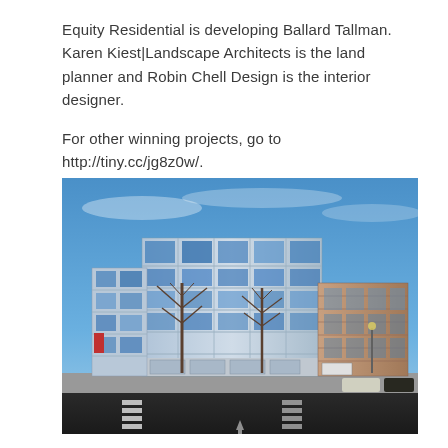Equity Residential is developing Ballard Tallman. Karen Kiest|Landscape Architects is the land planner and Robin Chell Design is the interior designer.

For other winning projects, go to http://tiny.cc/jg8z0w/.
[Figure (photo): Exterior photograph of Ballard Tallman, a modern multi-story residential building with glass and steel facade on a corner lot, blue sky background with bare trees in foreground, street-level view showing a crosswalk.]